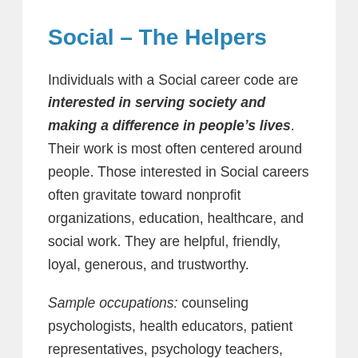Social – The Helpers
Individuals with a Social career code are interested in serving society and making a difference in people's lives. Their work is most often centered around people. Those interested in Social careers often gravitate toward nonprofit organizations, education, healthcare, and social work. They are helpful, friendly, loyal, generous, and trustworthy.
Sample occupations: counseling psychologists, health educators, patient representatives, psychology teachers,